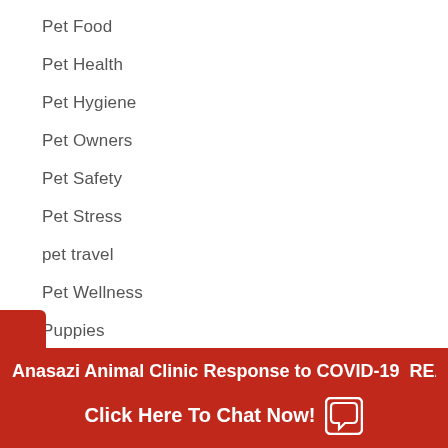Pet Food
Pet Health
Pet Hygiene
Pet Owners
Pet Safety
Pet Stress
pet travel
Pet Wellness
Puppies
Reproductive Surgeries
Senior Pet Care
Skin Conditions
Anasazi Animal Clinic Response to COVID-19 READ  Click Here To Chat Now!